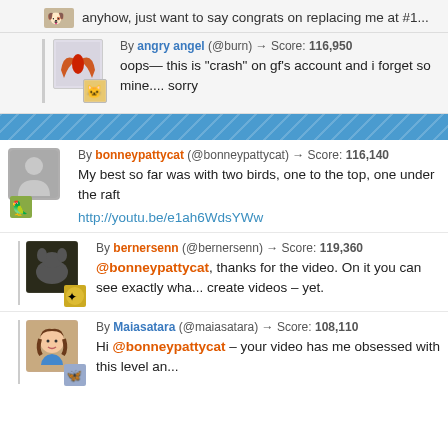anyhow, just want to say congrats on replacing me at #1...
By angry angel (@burn) → Score: 116,950
oops— this is "crash" on gf's account and i forget so mine.... sorry
By bonneypattycat (@bonneypattycat) → Score: 116,140
My best so far was with two birds, one to the top, one under the raft
http://youtu.be/e1ah6WdsYWw
By bernersenn (@bernersenn) → Score: 119,360
@bonneypattycat, thanks for the video. On it you can see exactly wha... create videos – yet.
By Maiasatara (@maiasatara) → Score: 108,110
Hi @bonneypattycat – your video has me obsessed with this level an...